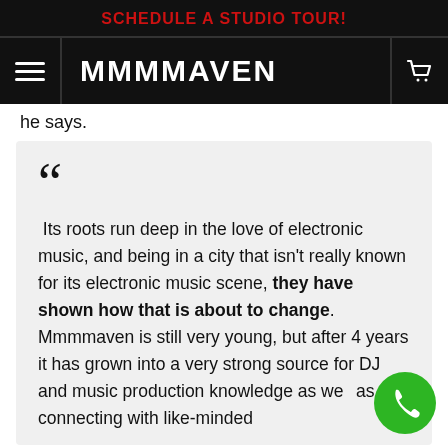SCHEDULE A STUDIO TOUR!
MMMMAVEN
he says.
Its roots run deep in the love of electronic music, and being in a city that isn't really known for its electronic music scene, they have shown how that is about to change. Mmmmaven is still very young, but after 4 years it has grown into a very strong source for DJ and music production knowledge as well as connecting with like-minded